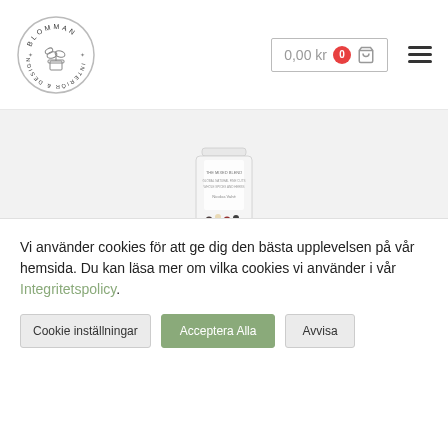[Figure (logo): Blomman Interiör & Design circular logo with plant/vase illustration]
0,00 kr 0
[Figure (illustration): Hamburger menu icon (three horizontal lines)]
[Figure (photo): A tall glass pepper grinder jar filled with mixed peppercorns (Peppar Mix)]
Peppar Mix
Vi använder cookies för att ge dig den bästa upplevelsen på vår hemsida. Du kan läsa mer om vilka cookies vi använder i vår Integritetspolicy.
Cookie inställningar
Acceptera Alla
Avvisa